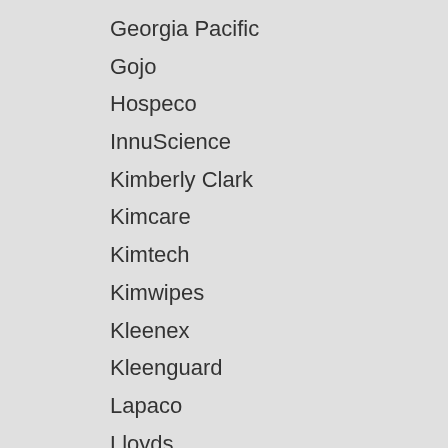Georgia Pacific
Gojo
Hospeco
InnuScience
Kimberly Clark
Kimcare
Kimtech
Kimwipes
Kleenex
Kleenguard
Lapaco
Lloyds